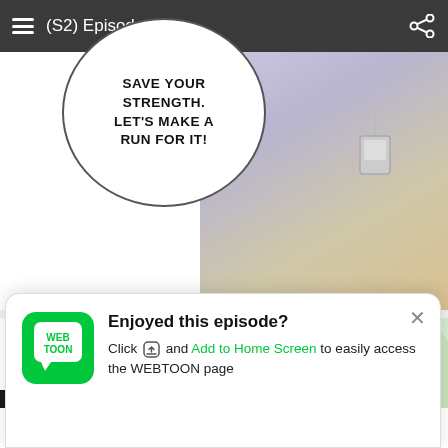(S2) Episode 79
[Figure (illustration): Manga/webtoon comic panels. Top panel: speech bubble on left with text 'SAVE YOUR STRENGTH. LET'S MAKE A RUN FOR IT!' and anime character on right wearing a lanyard/badge. Bottom panel: speech bubble with partial text 'BUT- FAITH IS YOUR' and anime character with light green/white hair on right side. WiFi error icon in center. Webtoon popup card at bottom.]
Enjoyed this episode?
Click and Add to Home Screen to easily access the WEBTOON page